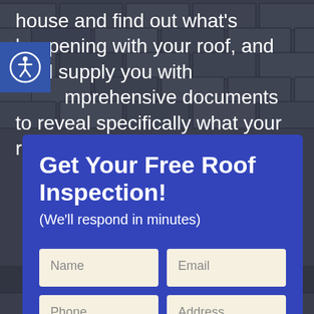house and find out what's happening with your roof, and we'll supply you with comprehensive documents to reveal specifically what your roof needs.
[Figure (illustration): Accessibility icon: circular border with a human figure in white on blue background, positioned at top-left]
Get Your Free Roof Inspection!
(We'll respond in minutes)
Name | Email | Phone | Address (form input fields)